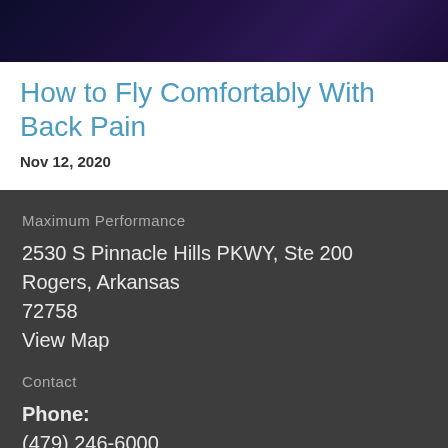[Figure (photo): Dark gradient hero image with purple and blue tones, likely showing an airplane or travel-related scene]
How to Fly Comfortably With Back Pain
Nov 12, 2020
Maximum Performance
2530 S Pinnacle Hills PKWY, Ste 200
Rogers, Arkansas
72758
View Map
Contact
Phone:
(479) 246-6000